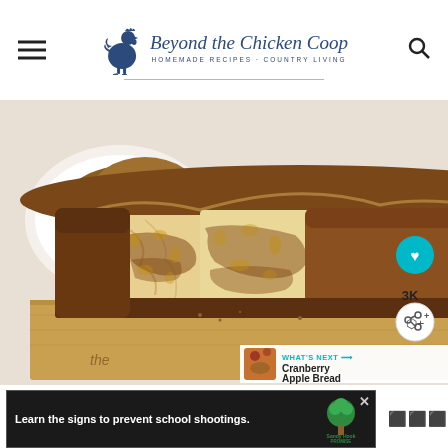Beyond the Chicken Coop – HOMEMADE RECIPES · COUNTRY LIVING
[Figure (photo): A sliced loaf of cinnamon swirl bread on a wooden cutting board, showing the interior swirled crumb. A plate with another loaf is visible in the background.]
WHAT'S NEXT → Cranberry Apple Bread
Learn the signs to prevent school shootings. Sandy Hook Promise